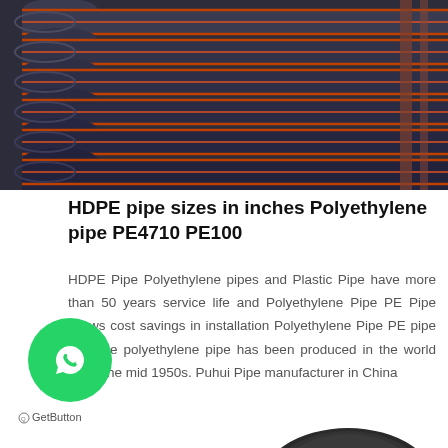[Figure (photo): Stack of black HDPE pipes with orange/red stripe markings, bundled together, viewed from the end at an angle.]
HDPE pipe sizes in inches Polyethylene pipe PE4710 PE100
HDPE Pipe Polyethylene pipes and Plastic Pipe have more than 50 years service life and Polyethylene Pipe PE Pipe allows cost savings in installation Polyethylene Pipe PE pipe PE pipe polyethylene pipe has been produced in the world since the mid 1950s. Puhui Pipe manufacturer in China
[Figure (logo): WhatsApp green circular button icon with phone/chat symbol, with GetButton label underneath.]
[Figure (photo): Partial view of a black HDPE pipe fitting or elbow at bottom right corner of the page.]